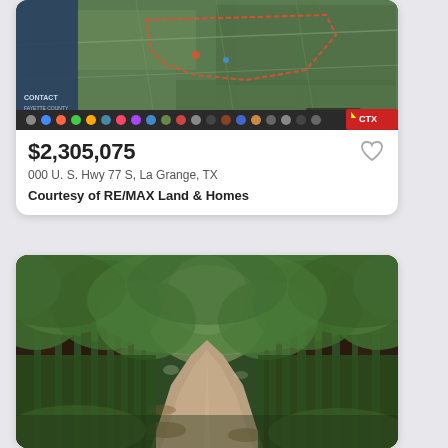[Figure (screenshot): Aerial map screenshot showing a property boundary outlined in red/orange dashed line on a satellite map, with a computer taskbar visible at the bottom of the screenshot including a CTX logo.]
$2,305,075
000 U. S. Hwy 77 S, La Grange, TX
Courtesy of RE/MAX Land & Homes
[Figure (photo): A tree-lined dirt/gravel road with large oak trees forming a canopy overhead, green foliage, natural landscape scene.]